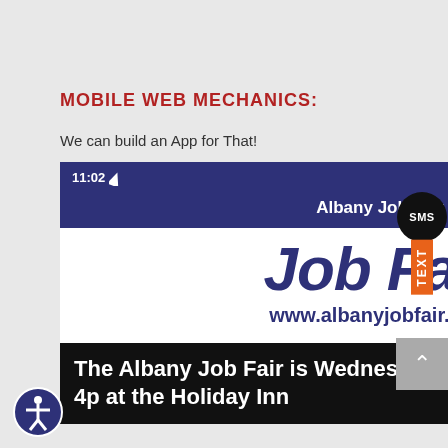MOBILE WEB MECHANICS:
We can build an App for That!
[Figure (screenshot): Mobile phone screenshot showing the Albany Job Fair app. Status bar shows 11:02 time with signal and battery icons. Dark blue navigation bar with 'Albany Job Fair' title. White area with large 'Job Fair' text in dark blue italic font and 'www.albanyjobfair.com' URL. Black section below with text 'The Albany Job Fair is Wednesday July 13, 2022 from 9a-4p at the Holiday Inn']